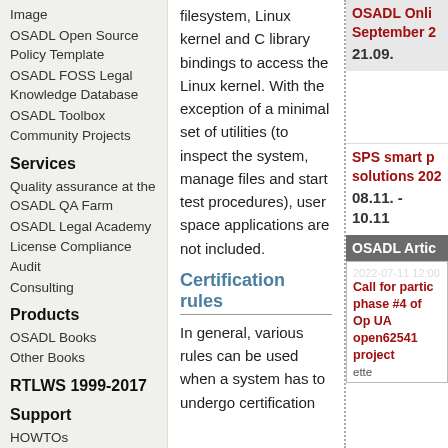Image
OSADL Open Source Policy Template
OSADL FOSS Legal Knowledge Database
OSADL Toolbox
Community Projects
Services
Quality assurance at the OSADL QA Farm
OSADL Legal Academy
License Compliance Audit
Consulting
Products
OSADL Books
Other Books
RTLWS 1999-2017
Support
HOWTOs
Downloads
filesystem, Linux kernel and C library bindings to access the Linux kernel. With the exception of a minimal set of utilities (to inspect the system, manage files and start test procedures), user space applications are not included.
Certification rules
In general, various rules can be used when a system has to undergo certification
OSADL Online September 2 21.09.
SPS smart pr solutions 202 08.11. - 10.11
OSADL Artic
2022-07-11 12:00
Call for partic phase #4 of Op UA open62541 project
ette